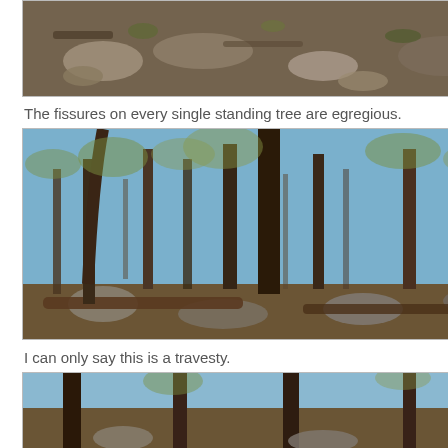[Figure (photo): Close-up photo of tree bark/ground with rocks and leaves showing fissures]
The fissures on every single standing tree are egregious.
[Figure (photo): Forest photo showing tall standing trees in early spring with sparse leaves, rocky ground with fallen logs]
I can only say this is a travesty.
[Figure (photo): Another forest photo partially visible at bottom of page]